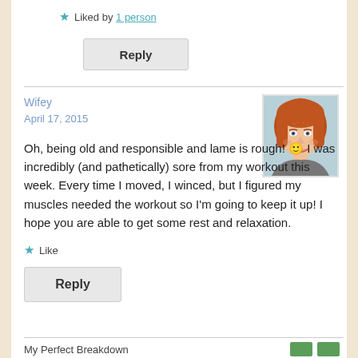★ Liked by 1 person
Reply
Wifey
April 17, 2015
[Figure (photo): Profile photo of a woman with red/auburn hair, smiling, freckled face]
Oh, being old and responsible and lame is rough! 🙂 I was incredibly (and pathetically) sore from my workout this week. Every time I moved, I winced, but I figured my muscles needed the workout so I'm going to keep it up! I hope you are able to get some rest and relaxation.
★ Like
Reply
My Perfect Breakdown